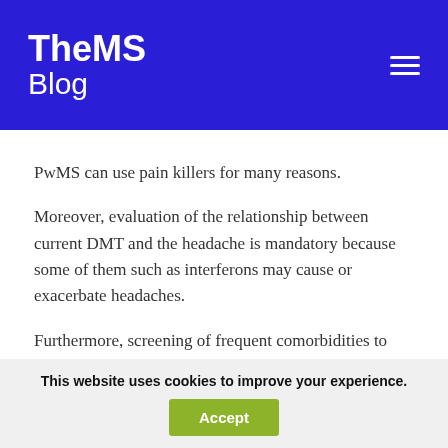TheMS Blog
PwMS can use pain killers for many reasons.
Moreover, evaluation of the relationship between current DMT and the headache is mandatory because some of them such as interferons may cause or exacerbate headaches.
Furthermore, screening of frequent comorbidities to both conditions like
This website uses cookies to improve your experience. Accept